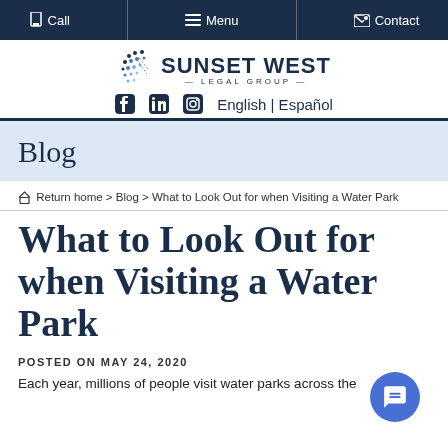Call  Menu  Contact
[Figure (logo): Sunset West Legal Group logo with dot-pattern decoration, social media icons (Facebook, LinkedIn, Instagram), and language options (English | Español)]
Blog
Return home > Blog > What to Look Out for when Visiting a Water Park
What to Look Out for when Visiting a Water Park
POSTED ON MAY 24, 2020
Each year, millions of people visit water parks across the